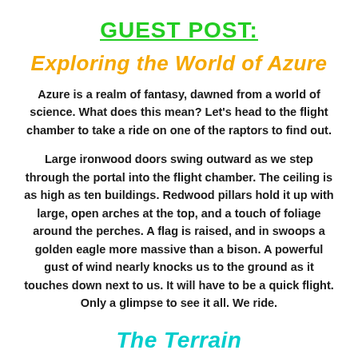GUEST POST:
Exploring the World of Azure
Azure is a realm of fantasy, dawned from a world of science. What does this mean? Let's head to the flight chamber to take a ride on one of the raptors to find out.
Large ironwood doors swing outward as we step through the portal into the flight chamber. The ceiling is as high as ten buildings. Redwood pillars hold it up with large, open arches at the top, and a touch of foliage around the perches. A flag is raised, and in swoops a golden eagle more massive than a bison. A powerful gust of wind nearly knocks us to the ground as it touches down next to us. It will have to be a quick flight. Only a glimpse to see it all. We ride.
The Terrain